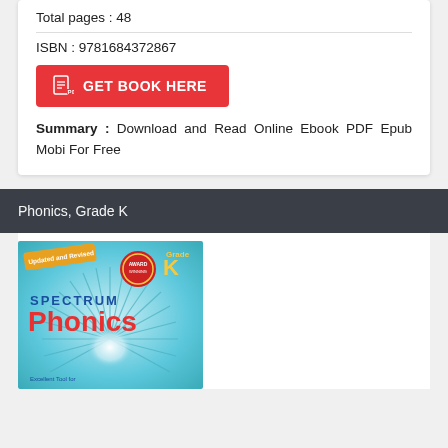Total pages : 48
ISBN : 9781684372867
GET BOOK HERE
Summary : Download and Read Online Ebook PDF Epub Mobi For Free
Phonics, Grade K
[Figure (photo): Book cover of Spectrum Phonics Grade K, featuring a teal/light blue background with a starburst design, 'SPECTRUM Phonics' title text in red and blue, 'Grade K' badge in yellow, 'Updated and Revised' banner, and an award seal.]